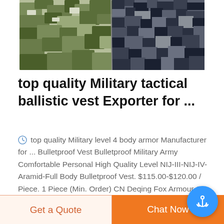[Figure (photo): Close-up photo of military digital camouflage fabric, showing green woodland camo on left and dark navy/blue digital camo on right]
top quality Military tactical ballistic vest Exporter for ...
top quality Military level 4 body armor Manufacturer for ... Bulletproof Vest Bulletproof Military Army Comfortable Personal High Quality Level NIJ-III-NIJ-IV-Aramid-Full Body Bulletproof Vest. $115.00-$120.00 / Piece. 1 Piece (Min. Order) CN Deqing Fox Armour Co., ...
[Figure (logo): DEFKON company logo — circular camouflage-patterned emblem with letter D in red center, and red DEFKON text below]
Get a Quote
Chat Now